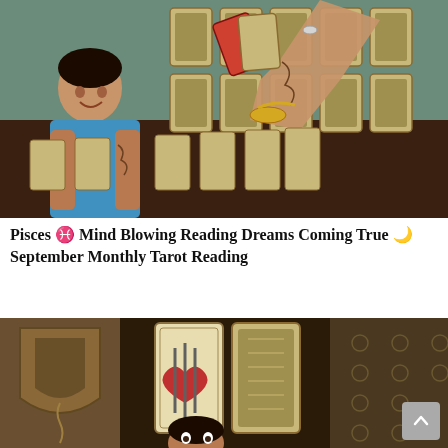[Figure (photo): A tattooed man in a blue t-shirt smiling, seated at a table covered with tarot cards spread out in rows. Another person's tattooed hands are holding and flipping tarot cards above the table. The background shows many face-down tarot cards arranged in a grid.]
Pisces ♓ Mind Blowing Reading Dreams Coming True 🌙 September Monthly Tarot Reading
[Figure (photo): A man seated at a table with tarot cards displayed in front of him. Two large tarot cards are prominently shown - one featuring a heart with swords and another depicting a scene. The background has a decorative tapestry. A scroll-to-top button is visible in the bottom right corner.]